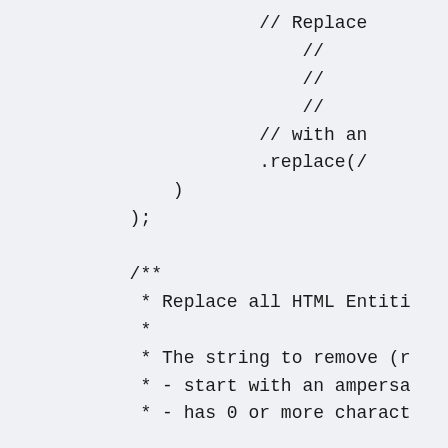// Replace
            //
            //
            //
            // with an
            .replace(/
        )
    );

    /**
     * Replace all HTML Entiti
     *
     * The string to remove (r
     * - start with an ampersa
     * - has 0 or more charact